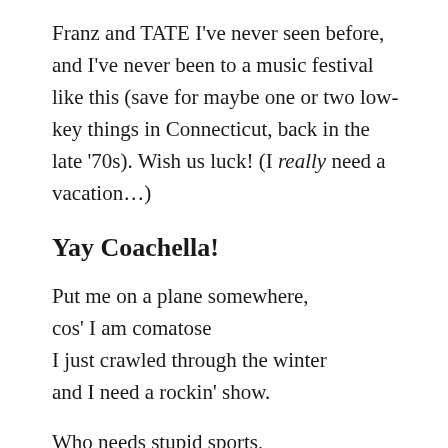Franz and TATE I've never seen before, and I've never been to a music festival like this (save for maybe one or two low-key things in Connecticut, back in the late '70s). Wish us luck! (I really need a vacation…)
Yay Coachella!
Put me on a plane somewhere,
cos' I am comatose
I just crawled through the winter
and I need a rockin' show.

Who needs stupid sports,
and frozen ski resorts,
when out west there's a rock fest of